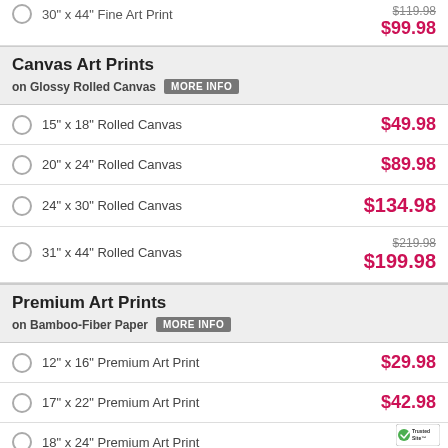30" x 44" Fine Art Print — $119.98 / $99.98
Canvas Art Prints on Glossy Rolled Canvas
15" x 18" Rolled Canvas — $49.98
20" x 24" Rolled Canvas — $89.98
24" x 30" Rolled Canvas — $134.98
31" x 44" Rolled Canvas — $219.98 / $199.98
Premium Art Prints on Bamboo-Fiber Paper
12" x 16" Premium Art Print — $29.98
17" x 22" Premium Art Print — $42.98
18" x 24" Premium Art Print